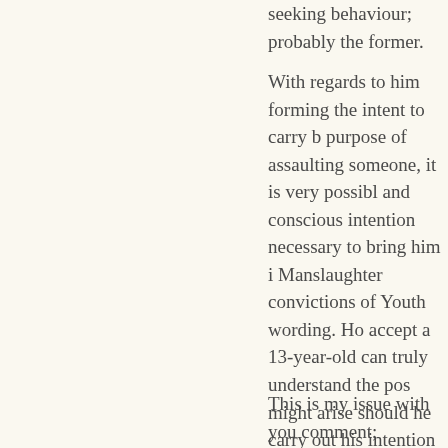seeking behaviour; probably the former.
With regards to him forming the intent to carry b purpose of assaulting someone, it is very possibl and conscious intention necessary to bring him i Manslaughter convictions of Youth wording. Ho accept a 13-year-old can truly understand the pos might arise should he carry out his intention of a that knife. He may have been able to form the wo helped him a bit with those) and even been capal thoughts of seriously injuring someone. Howeve entirely incapable of understanding the gravity o you are being held responsible, you cannot unde implications of death and that using that knife co haven't considered the nature of life in even the absurd to hold someone criminally liable for caus such.
This is my issue with you comment; although I thi interesting point. I do not think you gave adequa a kid may face. And the impact they have on an i in the case of the Cannons Creek youth acting fre